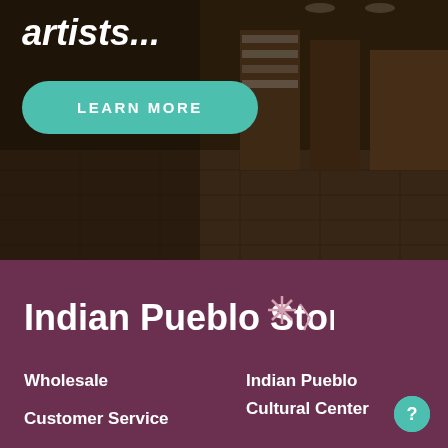[Figure (photo): Interior of a store with shelves and displays of merchandise, dark overlay, showing retail floor with tile flooring and wooden display units.]
artists...
LEARN MORE
[Figure (logo): Indian Pueblo Store logo with stylized asterisk/sun symbol in pink, white bold text on dark mauve/burgundy background.]
Wholesale
Indian Pueblo Cultural Center